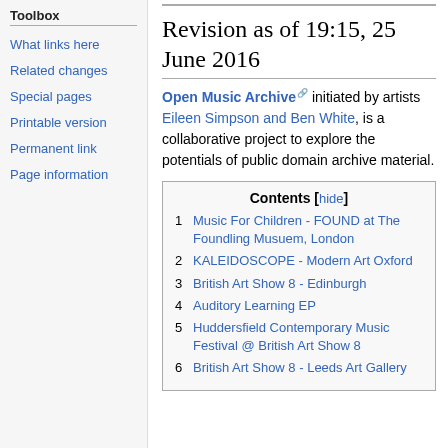Toolbox
What links here
Related changes
Special pages
Printable version
Permanent link
Page information
Revision as of 19:15, 25 June 2016
Open Music Archive initiated by artists Eileen Simpson and Ben White, is a collaborative project to explore the potentials of public domain archive material.
Contents [hide]
1 Music For Children - FOUND at The Foundling Musuem, London
2 KALEIDOSCOPE - Modern Art Oxford
3 British Art Show 8 - Edinburgh
4 Auditory Learning EP
5 Huddersfield Contemporary Music Festival @ British Art Show 8
6 British Art Show 8 - Leeds Art Gallery